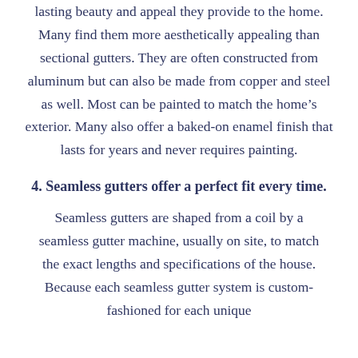lasting beauty and appeal they provide to the home. Many find them more aesthetically appealing than sectional gutters. They are often constructed from aluminum but can also be made from copper and steel as well. Most can be painted to match the home's exterior. Many also offer a baked-on enamel finish that lasts for years and never requires painting.
4. Seamless gutters offer a perfect fit every time.
Seamless gutters are shaped from a coil by a seamless gutter machine, usually on site, to match the exact lengths and specifications of the house. Because each seamless gutter system is custom-fashioned for each unique